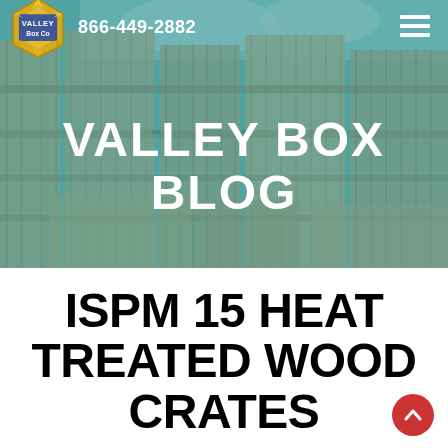[Figure (photo): Hero banner with wooden crates background covered by teal/cyan color overlay showing stacked wooden shipping crates]
Valley Box Co  866-449-2882
VALLEY BOX BLOG
ISPM 15 HEAT TREATED WOOD CRATES